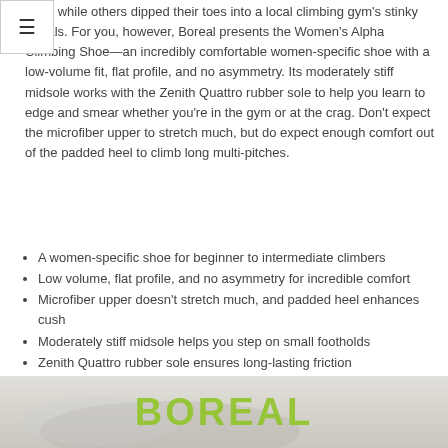Wall) while others dipped their toes into a local climbing gym's stinky rentals. For you, however, Boreal presents the Women's Alpha Climbing Shoe—an incredibly comfortable women-specific shoe with a low-volume fit, flat profile, and no asymmetry. Its moderately stiff midsole works with the Zenith Quattro rubber sole to help you learn to edge and smear whether you're in the gym or at the crag. Don't expect the microfiber upper to stretch much, but do expect enough comfort out of the padded heel to climb long multi-pitches.
A women-specific shoe for beginner to intermediate climbers
Low volume, flat profile, and no asymmetry for incredible comfort
Microfiber upper doesn't stretch much, and padded heel enhances cush
Moderately stiff midsole helps you step on small footholds
Zenith Quattro rubber sole ensures long-lasting friction
Item #BRF0011
[Figure (photo): Bottom portion of a Boreal climbing shoe product image with the BOREAL logo in green text visible across the bottom]